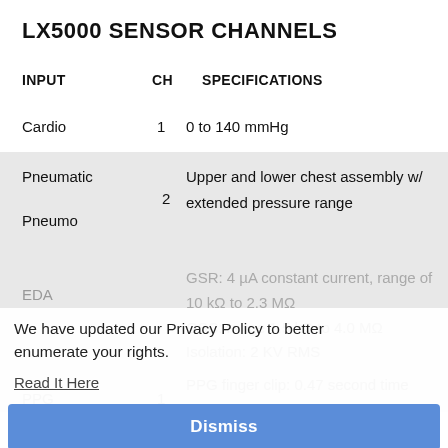LX5000 SENSOR CHANNELS
| INPUT | CH | SPECIFICATIONS |
| --- | --- | --- |
| Cardio | 1 | 0 to 140 mmHg |
| Pneumatic Pneumo | 2 | Upper and lower chest assembly w/ extended pressure range |
| EDA | 3 | GSR: 4 µA constant current, range of 10 kΩ to 2.3 MΩ
GSC: range 1.5 kΩ to 4.0 MΩ
Isolation: 2 KV RMS |
| PPG | 1 | PPG finger clip: 0.47 second time constant, 635 nm |
| Activity |  |  |
We have updated our Privacy Policy to better enumerate your rights.
Read It Here
Dismiss